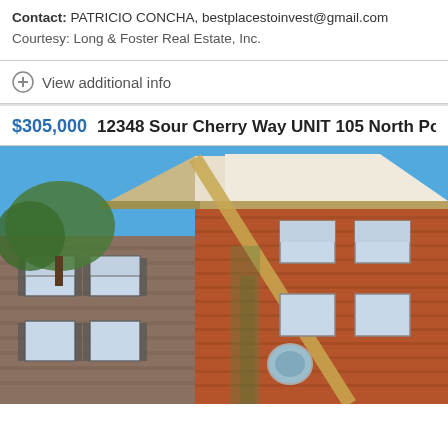Contact: PATRICIO CONCHA, bestplacestoinvest@gmail.com
Courtesy: Long & Foster Real Estate, Inc.
View additional info
$305,000   12348 Sour Cherry Way UNIT 105 North Poton
[Figure (photo): Exterior photo of a brick residential building with white gable roof trim, multiple windows with shutters, green trees visible on left side, blue sky background]